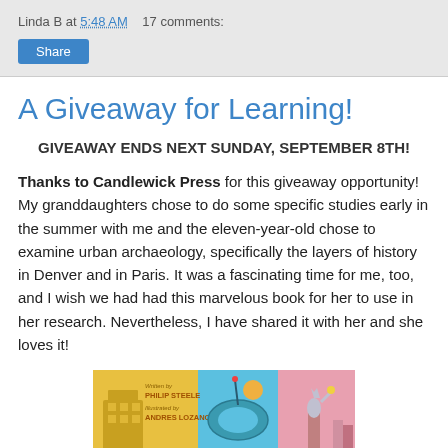Linda B at 5:48 AM   17 comments:
A Giveaway for Learning!
GIVEAWAY ENDS NEXT SUNDAY, SEPTEMBER 8TH!
Thanks to Candlewick Press for this giveaway opportunity! My granddaughters chose to do some specific studies early in the summer with me and the eleven-year-old chose to examine urban archaeology, specifically the layers of history in Denver and in Paris. It was a fascinating time for me, too, and I wish we had had this marvelous book for her to use in her research. Nevertheless, I have shared it with her and she loves it!
[Figure (illustration): Book cover showing urban cityscape illustrations with text 'Written by Philip Steele, Illustrated by Andres Lozano']